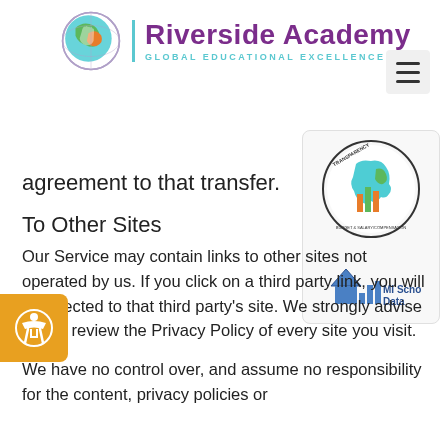[Figure (logo): Riverside Academy logo with globe icon and text 'Riverside Academy - Global Educational Excellence']
agreement to that transfer.
To Other Sites
Our Service may contain links to other sites not operated by us. If you click on a third party link, you will be directed to that third party's site. We strongly advise you to review the Privacy Policy of every site you visit.
We have no control over, and assume no responsibility for the content, privacy policies or
[Figure (logo): Transparency Reporting Budget & Salary/Compensation badge - circular emblem with Michigan map]
[Figure (logo): MI School Data badge with house/chart icon]